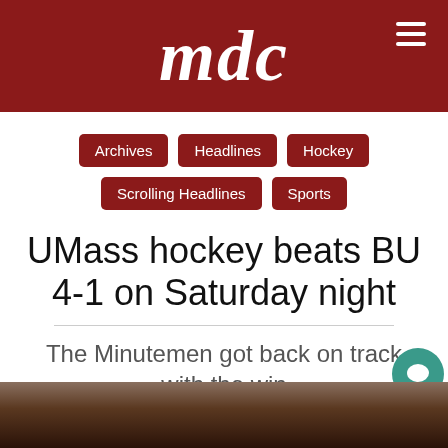mdc
Archives
Headlines
Hockey
Scrolling Headlines
Sports
UMass hockey beats BU 4-1 on Saturday night
The Minutemen got back on track with the win
[Figure (photo): Hockey game crowd photo at the bottom of the page]